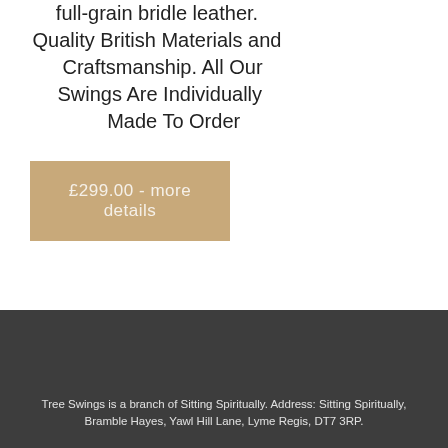full-grain bridle leather. Quality British Materials and Craftsmanship. All Our Swings Are Individually Made To Order
£299.00 - more details
Tree Swings is a branch of Sitting Spiritually. Address: Sitting Spiritually, Bramble Hayes, Yawl Hill Lane, Lyme Regis, DT7 3RP.